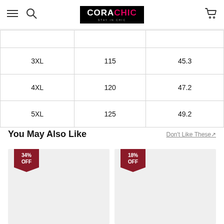CORACHIC - Stay in Chic header with menu, search, and cart icons
| 3XL | 115 | 45.3 |
| 4XL | 120 | 47.2 |
| 5XL | 125 | 49.2 |
You May Also Like
Don't Like These↗
[Figure (photo): Product image placeholder with 34% OFF badge]
[Figure (photo): Product image placeholder with 18% OFF badge]